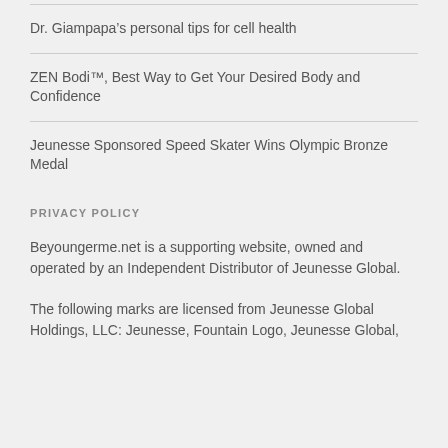Dr. Giampapa’s personal tips for cell health
ZEN Bodi™, Best Way to Get Your Desired Body and Confidence
Jeunesse Sponsored Speed Skater Wins Olympic Bronze Medal
PRIVACY POLICY
Beyoungerme.net is a supporting website, owned and operated by an Independent Distributor of Jeunesse Global.
The following marks are licensed from Jeunesse Global Holdings, LLC: Jeunesse, Fountain Logo, Jeunesse Global,